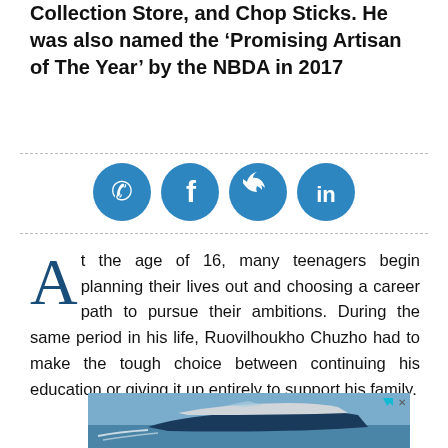Collection Store, and Chop Sticks. He was also named the ‘Promising Artisan of The Year’ by the NBDA in 2017
[Figure (other): Social media share buttons: WhatsApp, Facebook, Twitter, LinkedIn - four blue circles with icons]
At the age of 16, many teenagers begin planning their lives out and choosing a career path to pursue their ambitions. During the same period in his life, Ruovilhoukho Chuzho had to make the tough choice between continuing his education or giving it up entirely to support his family.
[Figure (photo): Advertisement banner showing a motorboat/speedboat on blue water with people on board]